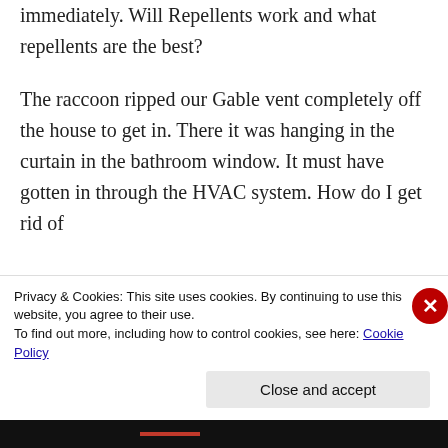immediately. Will Repellents work and what repellents are the best?
The raccoon ripped our Gable vent completely off the house to get in. There it was hanging in the curtain in the bathroom window. It must have gotten in through the HVAC system. How do I get rid of
Privacy & Cookies: This site uses cookies. By continuing to use this website, you agree to their use.
To find out more, including how to control cookies, see here: Cookie Policy